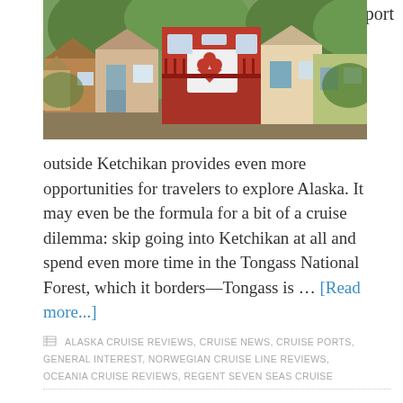[Figure (photo): Colorful houses in Ketchikan Alaska, featuring a prominent red building with heart decorations, surrounded by green trees and other wooden structures]
port
outside Ketchikan provides even more opportunities for travelers to explore Alaska. It may even be the formula for a bit of a cruise dilemma: skip going into Ketchikan at all and spend even more time in the Tongass National Forest, which it borders—Tongass is … [Read more...]
ALASKA CRUISE REVIEWS, CRUISE NEWS, CRUISE PORTS, GENERAL INTEREST, NORWEGIAN CRUISE LINE REVIEWS, OCEANIA CRUISE REVIEWS, REGENT SEVEN SEAS CRUISE